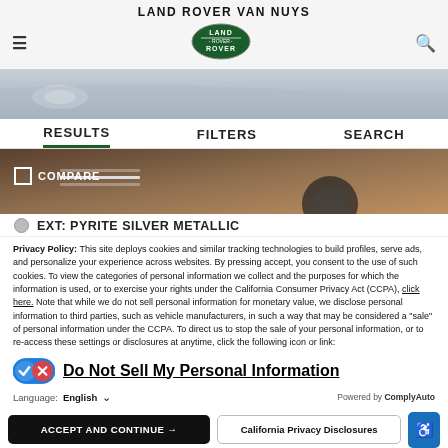LAND ROVER VAN NUYS
[Figure (logo): Land Rover oval green logo with white text]
[Figure (photo): Partial view of a silver SUV vehicle front end]
RESULTS  FILTERS  SEARCH
[Figure (photo): Lower portion of dark-colored SUV showing wheel and grille area with COMPARE checkbox overlay]
EXT: PYRITE SILVER METALLIC
Privacy Policy: This site deploys cookies and similar tracking technologies to build profiles, serve ads, and personalize your experience across websites. By pressing accept, you consent to the use of such cookies. To view the categories of personal information we collect and the purposes for which the information is used, or to exercise your rights under the California Consumer Privacy Act (CCPA), click here. Note that while we do not sell personal information for monetary value, we disclose personal information to third parties, such as vehicle manufacturers, in such a way that may be considered a "sale" of personal information under the CCPA. To direct us to stop the sale of your personal information, or to re-access these settings or disclosures at anytime, click the following icon or link:
Do Not Sell My Personal Information
Language: English   Powered by ComplyAuto
ACCEPT AND CONTINUE →   California Privacy Disclosures